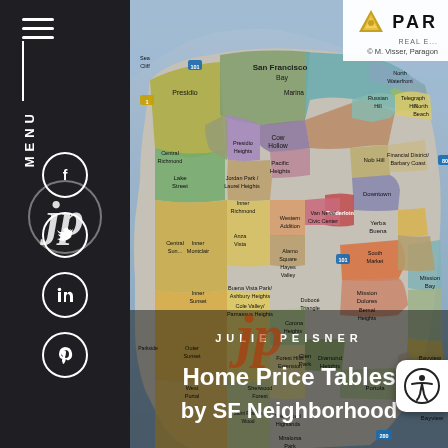[Figure (map): Colorful map of San Francisco neighborhoods showing district boundaries with neighborhood names labeled, including Marina, Pacific Heights, Nob Hill, Financial District, Downtown, Tenderloin, Mission, Bernal Heights, Bayview, Sunset, Richmond, and many others.]
Home Price Tables by SF Neighborhood
JULIE PEISNER
[Figure (logo): Paragon Real Estate logo - gold triangle/arrow symbol with PAR text]
© M. Visser, Paragon
[Figure (logo): JP script logo in white on dark sidebar]
MENU
[Figure (other): Social media icons: Facebook, Twitter, LinkedIn, Pinterest in white circles on dark sidebar]